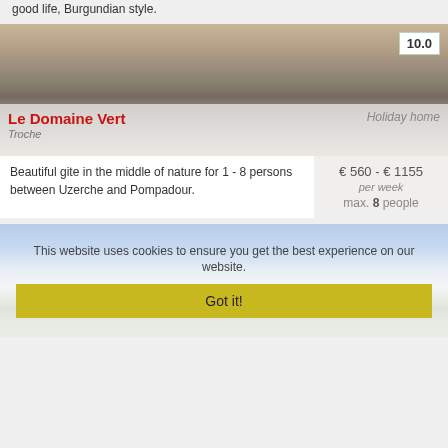good life, Burgundian style.
[Figure (photo): Interior photo of a rustic kitchen with wooden ceiling beams, hanging pots, industrial pendant lamps, and a window with natural light. Score badge showing 10.0 in top right corner.]
Le Domaine Vert
Troche
Holiday home
Beautiful gite in the middle of nature for 1 - 8 persons between Uzerche and Pompadour.
€ 560 - € 1155 per week
max. 8 people
[Figure (photo): Outdoor photo with blue sky and clouds partially visible, overlaid with a cookie consent banner.]
This website uses cookies to ensure you get the best experience on our website.
Got it!